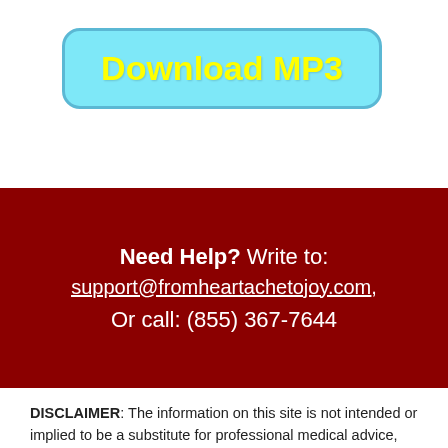[Figure (other): A cyan/light-blue rounded button with yellow bold text reading 'Download MP3']
Need Help? Write to: support@fromheartachetojoy.com, Or call: (855) 367-7644
DISCLAIMER: The information on this site is not intended or implied to be a substitute for professional medical advice, diagnosis or treatment. All content, including text, graphics,